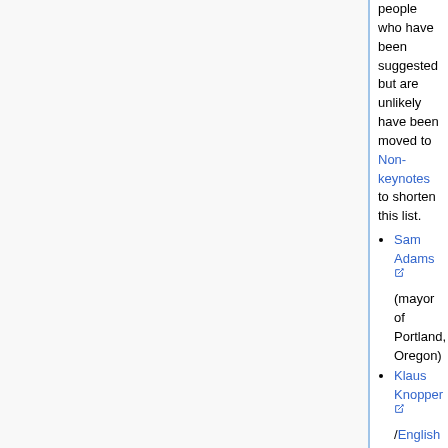people who have been suggested but are unlikely have been moved to Non-keynotes to shorten this list.
Sam Adams (mayor of Portland, Oregon)
Klaus Knopper/English interview (Knoppix)
Amber Graner (Ubuntu/Canonical)
Rikki Endsley (opensource.com)
H. Peter Anvin (Intel, kernel dev)
Jonathan Corbet (LWN.net)
Bob Young (formerly Red Hat)
Jane Silber (Canonical)
Mitchell Baker (Mozilla)
Ted Ts'o (Google, kernel dev)
Amanda McPherson (Linux Foundation)
Matt Asay (Canonical)